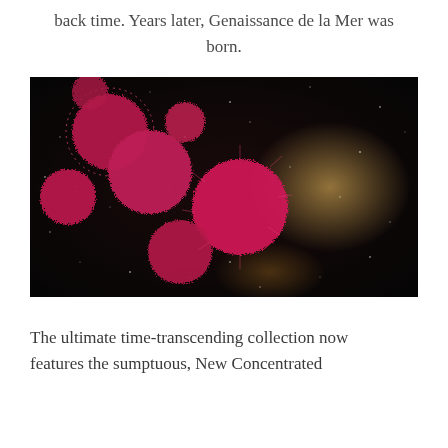back time. Years later, Genaissance de la Mer was born.
[Figure (photo): Close-up photograph of pink sea urchin-like organisms with spiky fuzz against a dark black background with sparkling particles, and warm glowing bokeh light on the right side.]
The ultimate time-transcending collection now features the sumptuous, New Concentrated